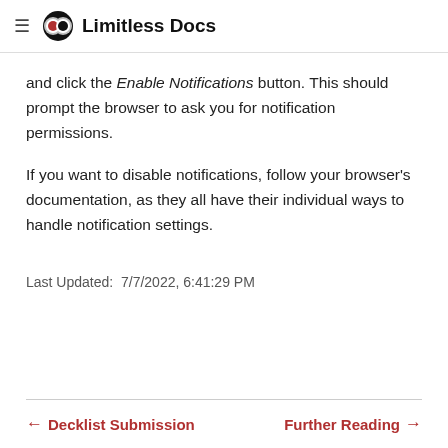≡ Limitless Docs
and click the Enable Notifications button. This should prompt the browser to ask you for notification permissions.
If you want to disable notifications, follow your browser's documentation, as they all have their individual ways to handle notification settings.
Last Updated:  7/7/2022, 6:41:29 PM
← Decklist Submission    Further Reading →